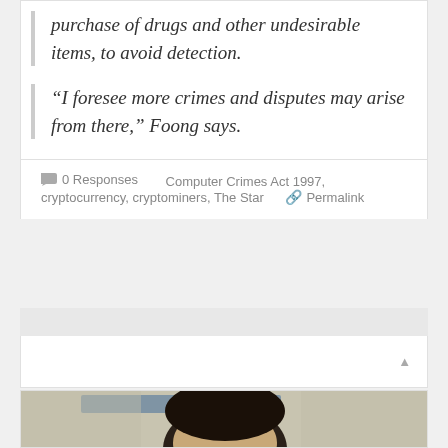purchase of drugs and other undesirable items, to avoid detection.
“I foresee more crimes and disputes may arise from there,” Foong says.
0 Responses   Computer Crimes Act 1997, cryptocurrency, cryptominers, The Star   Permalink
[Figure (photo): A photo of a person, partially visible, with blurred background.]